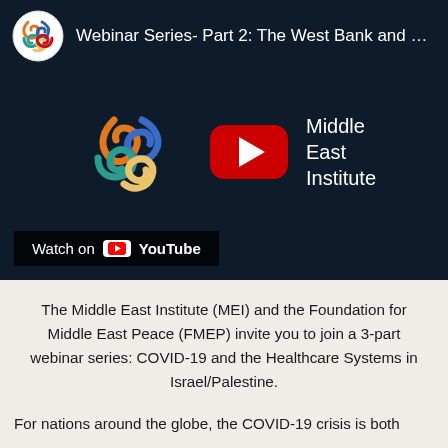[Figure (screenshot): YouTube video thumbnail for 'Webinar Series- Part 2: The West Bank and Eas...' by Middle East Institute, showing the MEI logo in the center with a red YouTube play button, and a 'Watch on YouTube' bar at the bottom left. Background is dark navy blue.]
The Middle East Institute (MEI) and the Foundation for Middle East Peace (FMEP) invite you to join a 3-part webinar series: COVID-19 and the Healthcare Systems in Israel/Palestine.
For nations around the globe, the COVID-19 crisis is both